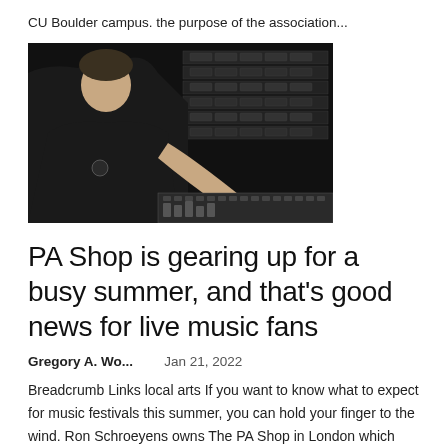CU Boulder campus. the purpose of the association...
[Figure (photo): Man in black shirt standing in front of audio equipment racks, leaning over a mixing console]
PA Shop is gearing up for a busy summer, and that’s good news for live music fans
Gregory A. Wo...    Jan 21, 2022
Breadcrumb Links local arts If you want to know what to expect for music festivals this summer, you can hold your finger to the wind. Ron Schroeyens owns The PA Shop in London which provides stages, sound and...